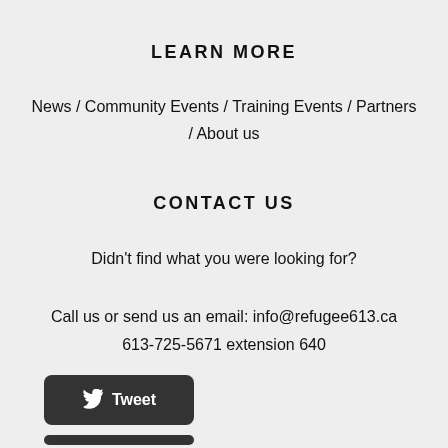LEARN MORE
News  /  Community Events  /  Training Events  /  Partners  /  About us
CONTACT US
Didn't find what you were looking for?
Call us or send us an email: info@refugee613.ca
613-725-5671 extension 640
[Figure (other): Tweet button (dark rounded rectangle with Twitter bird icon and 'Tweet' label)]
[Figure (other): Partial second social sharing button (dark rounded rectangle, partially visible at bottom)]